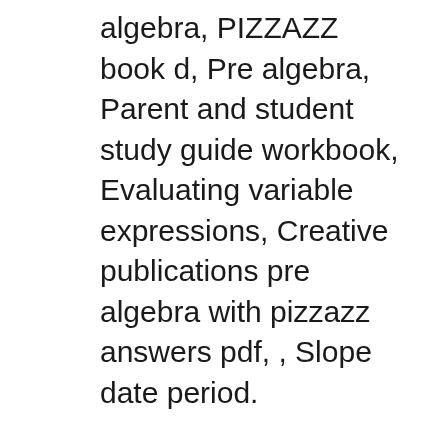algebra, PIZZAZZ book d, Pre algebra, Parent and student study guide workbook, Evaluating variable expressions, Creative publications pre algebra with pizzazz answers pdf, , Slope date period.
Some of the worksheets displayed are Pizzazz algebra, Pizzazz book d, , Middle school math with pizzazz e answer key pdf, Pre algebra with pizzazz answer key 121, Order of вЂ¦ Pre Algerbra With Pizzazz. Showing top 8 worksheets in the category - Pre Algerbra With Pizzazz. Some of the worksheets displayed are Pizzazz algebra, Pizzazz book e, Pre algebra, Parent and student study guide workbook, Evaluating